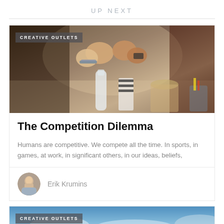UP NEXT
[Figure (photo): Photo of multiple people doing a fist bump over a desk with a water bottle, striped mug, jar, and pencil holder visible]
CREATIVE OUTLETS
The Competition Dilemma
Humans are competitive. We compete all the time. In sports, in games, at work, in significant others, in our ideas, beliefs,
[Figure (photo): Circular avatar photo of Erik Krumins, a young man]
Erik Krumins
[Figure (photo): Partial photo showing blue sky and mountains or clouds, with CREATIVE OUTLETS badge overlay]